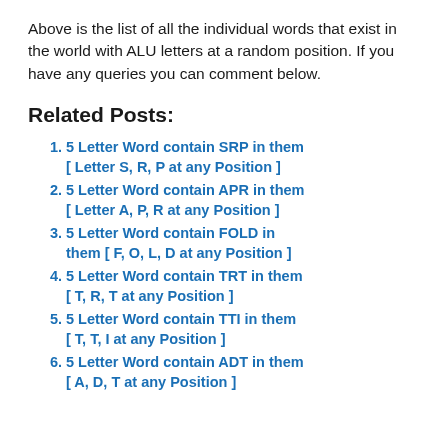Above is the list of all the individual words that exist in the world with ALU letters at a random position. If you have any queries you can comment below.
Related Posts:
5 Letter Word contain SRP in them [ Letter S, R, P at any Position ]
5 Letter Word contain APR in them [ Letter A, P, R at any Position ]
5 Letter Word contain FOLD in them [ F, O, L, D at any Position ]
5 Letter Word contain TRT in them [ T, R, T at any Position ]
5 Letter Word contain TTI in them [ T, T, I at any Position ]
5 Letter Word contain ADT in them [ A, D, T at any Position ]